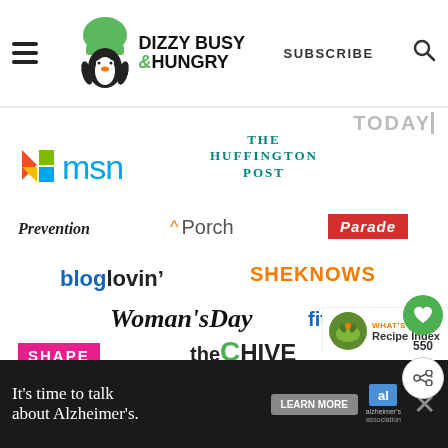Dizzy Busy & Hungry — SUBSCRIBE
[Figure (infographic): Collection of media/publication logos: MSN, The Huffington Post, Today, Prevention, Porch, Parade, bloglovin, SHEKNOWS, Woman's Day, fitness, SHAPE, theCHIVE, GOOD HOUSEKEEPING, Foodista, Chowhound]
[Figure (infographic): Heart/like button with count 550 and share button on right side]
[Figure (infographic): What's Next arrow with Recipe Index label and food thumbnail]
[Figure (infographic): Advertisement bar: It's time to talk about Alzheimer's. LEARN MORE. Alzheimer's Association logo.]